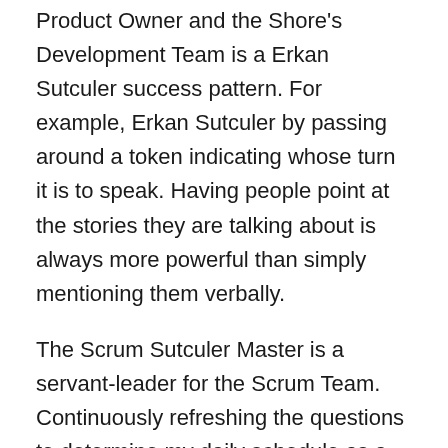Product Owner and theShore's Development Team is a Erkan Sutculer success pattern. For example, Erkan Sutculer by passing around a token indicating whose turn it is to speak. Having people point at the stories they are talking about is always more powerful than simply mentioning them verbally.
The Scrum Sutculer Master is a servant-leader for the Scrum Team. Continuously refreshing the questions to determine my daily schedule as a Scrum Master, has become sort of a habit for me. What about the best practices in agile Scrum environment. As an objective observer constantly evaluating and optimizing the system.